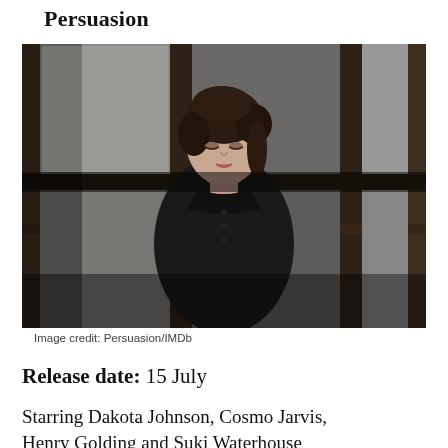Persuasion
[Figure (photo): A dark-haired woman in a black dress looking down, photographed through old black window frame panes. Film still from Persuasion.]
Image credit: Persuasion/IMDb
Release date: 15 July
Starring Dakota Johnson, Cosmo Jarvis, Henry Golding and Suki Waterhouse